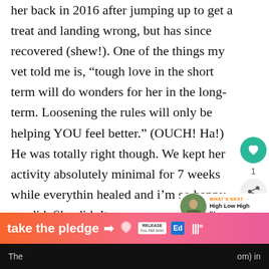her back in 2016 after jumping up to get a treat and landing wrong, but has since recovered (shew!). One of the things my vet told me is, “tough love in the short term will do wonders for her in the long-term. Loosening the rules will only be helping YOU feel better.” (OUCH! Ha!) He was totally right though. We kept her activity absolutely minimal for 7 weeks while everything healed and i’m so happy we did. She didn’t need surgery and now she now gets the zoo the best of them, even at 10 years old.
[Figure (screenshot): UI sidebar with heart/like button showing count of 1, and share button]
[Figure (screenshot): What's Next panel showing thumbnail of person and text 'High Low High IV']
[Figure (infographic): Take the pledge banner with orange-pink gradient, arrow, Release logo, Ed logo, and MSNBC peacock logo]
The ... om) in